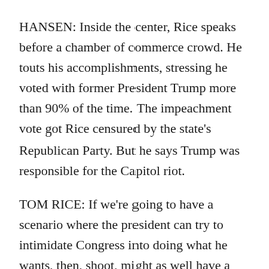HANSEN: Inside the center, Rice speaks before a chamber of commerce crowd. He touts his accomplishments, stressing he voted with former President Trump more than 90% of the time. The impeachment vote got Rice censured by the state's Republican Party. But he says Trump was responsible for the Capitol riot.
TOM RICE: If we're going to have a scenario where the president can try to intimidate Congress into doing what he wants, then, shoot, might as well have a monarchy.
HANSEN: Rice vividly remembers the attack, seeing beaten, bloody police as he sought safety from the House floor. He says the president should have stopped the violence.
RICE: And if the consequences are that the people think that